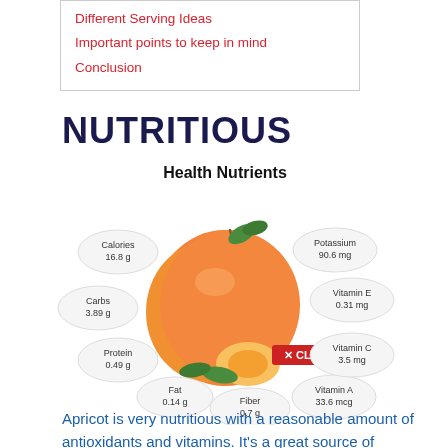Different Serving Ideas
Important points to keep in mind
Conclusion
NUTRITIOUS
[Figure (infographic): Health Nutrients infographic showing an apricot in the center surrounded by labeled nutrient bubbles: Calories 16.8 g, Carbs 3.89 g, Protein 0.49 g, Fat 0.14 g, Fiber 0.7 g, Vitamin A 33.6 mcg, Vitamin C 3.5 mg, Vitamin E 0.31 mg, Potassium 90.6 mg. A red 'X CLOSE' button overlaps the image.]
Apricot is very nutritious with a reasonable amount of antioxidants and vitamins. It's a great source of